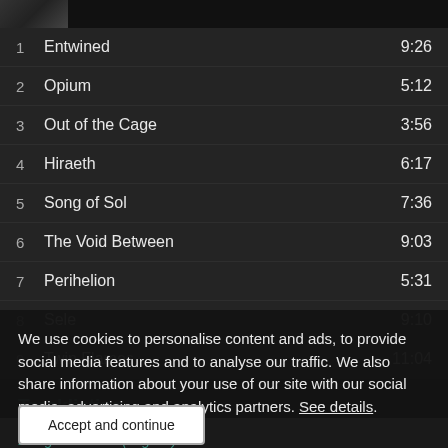[Figure (screenshot): Thumbnail image bar at top]
1  Entwined  9:26
2  Opium  5:12
3  Out of the Cage  3:56
4  Hiraeth  6:17
5  Song of Sol  7:36
6  The Void Between  9:03
7  Perihelion  5:31
8  Sele  9:10
9  Twin Flames  11:04
We use cookies to personalise content and ads, to provide social media features and to analyse our traffic. We also share information about your use of our site with our social media, advertising and analytics partners. See details.
Tracklisting
Accept and continue
1. Tiger Dreams (original)